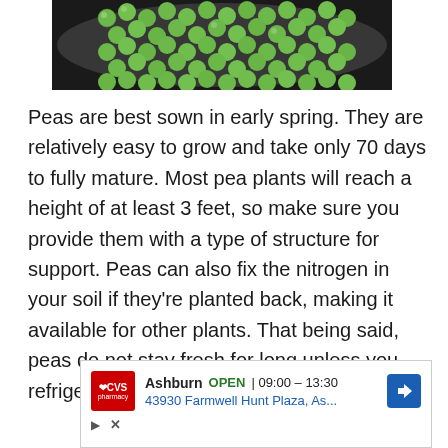[Figure (photo): A bowl of fresh green peas photographed from above, showing many round green peas filling a white bowl, against a dark background.]
Peas are best sown in early spring. They are relatively easy to grow and take only 70 days to fully mature. Most pea plants will reach a height of at least 3 feet, so make sure you provide them with a type of structure for support. Peas can also fix the nitrogen in your soil if they're planted back, making it available for other plants. That being said, peas do not stay fresh for long unless you refrigerate them.
[Figure (screenshot): An advertisement box for CVS Pharmacy showing Ashburn location, OPEN status, hours 09:00 – 13:30, address 43930 Farmwell Hunt Plaza, As..., with CVS logo and navigation arrow icon.]